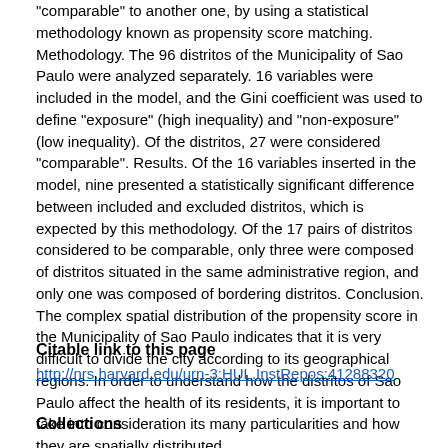"comparable" to another one, by using a statistical methodology known as propensity score matching. Methodology. The 96 distritos of the Municipality of Sao Paulo were analyzed separately. 16 variables were included in the model, and the Gini coefficient was used to define "exposure" (high inequality) and "non-exposure" (low inequality). Of the distritos, 27 were considered "comparable". Results. Of the 16 variables inserted in the model, nine presented a statistically significant difference between included and excluded distritos, which is expected by this methodology. Of the 17 pairs of distritos considered to be comparable, only three were composed of distritos situated in the same administrative region, and only one was composed of bordering distritos. Conclusion. The complex spatial distribution of the propensity score in the Municipality of Sao Paulo indicates that it is very difficult to divide the city according to its geographical regions. In order to understand how the distritos of Sao Paulo affect the health of its residents, it is important to take into consideration its many particularities and how they are spatially distributed.
Citable link to this page
http://nrs.harvard.edu/urn-3:HUL.InstRepos:41288320
Collections